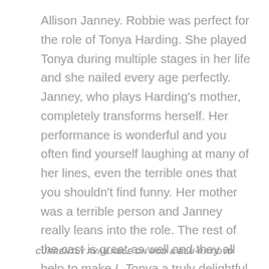Allison Janney. Robbie was perfect for the role of Tonya Harding. She played Tonya during multiple stages in her life and she nailed every age perfectly. Janney, who plays Harding's mother, completely transforms herself. Her performance is wonderful and you often find yourself laughing at many of her lines, even the terrible ones that you shouldn't find funny. Her mother was a terrible person and Janney really leans into the role. The rest of the cast is great as well and they all help to make I, Tonya a truly delightful biopic.
CURRENTLY AVAILABLE ON VOD & BLU-RAY/DVD